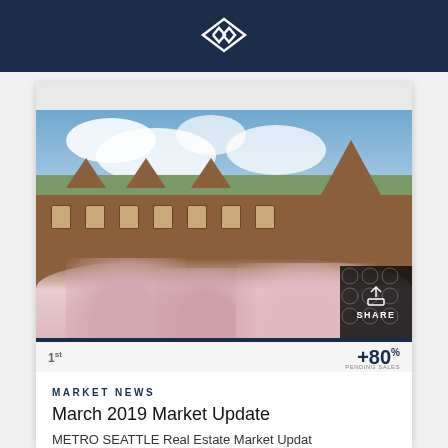Windermere Real Estate logo
[Figure (photo): Exterior photo of a gothic-style university building (University of Washington) with cherry blossom trees in full bloom in the foreground under a blue sky with clouds. A dark honeycomb-patterned share button overlay appears in the bottom-right corner.]
MARKET NEWS
March 2019 Market Update
METRO SEATTLE Real Estate Market Updat